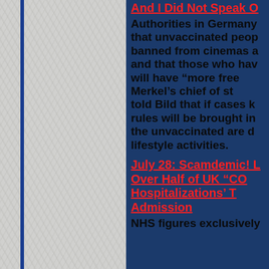And I Did Not Speak O
Authorities in Germany that unvaccinated peop banned from cinemas a and that those who hav will have “more free Merkel’s chief of st told Bild that if cases k rules will be brought in the unvaccinated are d lifestyle activities.
July 28: Scamdemic! L Over Half of UK “CO Hospitalizations’ T Admission
NHS figures exclusively